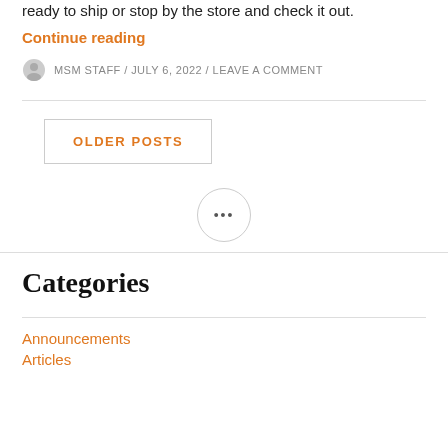ready to ship or stop by the store and check it out.
Continue reading
MSM STAFF / JULY 6, 2022 / LEAVE A COMMENT
OLDER POSTS
[Figure (other): Circle button with three dots (ellipsis) in the center]
Categories
Announcements
Articles